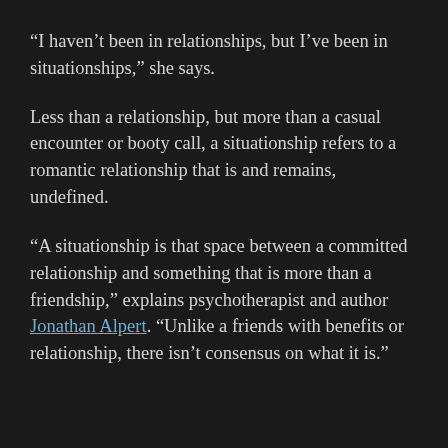“I haven’t been in relationships, but I’ve been in situationships,” she says.
Less than a relationship, but more than a casual encounter or booty call, a situationship refers to a romantic relationship that is and remains, undefined.
“A situationship is that space between a committed relationship and something that is more than a friendship,” explains psychotherapist and author Jonathan Alpert. “Unlike a friends with benefits or relationship, there isn’t consensus on what it is.”